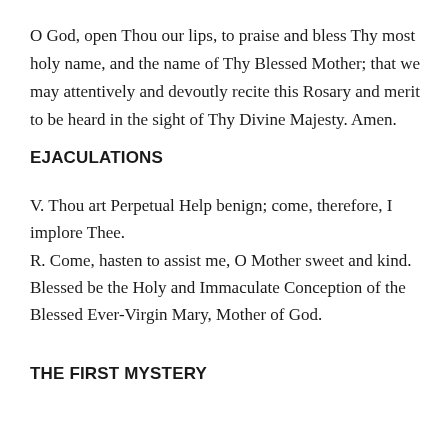O God, open Thou our lips, to praise and bless Thy most holy name, and the name of Thy Blessed Mother; that we may attentively and devoutly recite this Rosary and merit to be heard in the sight of Thy Divine Majesty. Amen.
EJACULATIONS
V. Thou art Perpetual Help benign; come, therefore, I implore Thee.
R. Come, hasten to assist me, O Mother sweet and kind.
Blessed be the Holy and Immaculate Conception of the Blessed Ever-Virgin Mary, Mother of God.
THE FIRST MYSTERY